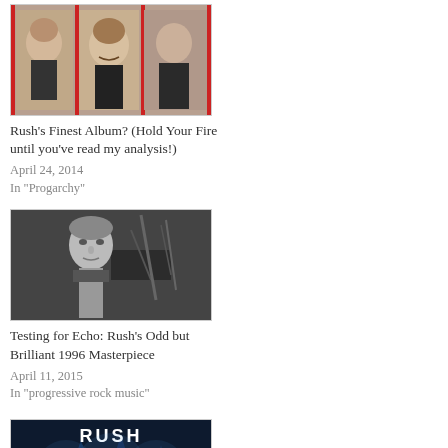[Figure (photo): Rush Hold Your Fire album cover or band photo with red panels]
Rush's Finest Album? (Hold Your Fire until you've read my analysis!)
April 24, 2014
In "Progarchy"
[Figure (photo): Black and white photo of a Rush band member]
Testing for Echo: Rush's Odd but Brilliant 1996 Masterpiece
April 11, 2015
In "progressive rock music"
[Figure (photo): Rush Clockwork Angels Tour concert image with blue stage lighting and RUSH logo]
Rush 2.0: Clockwork Angels Tour (2013) Review
November 27, 2013
In "progressive rock music"